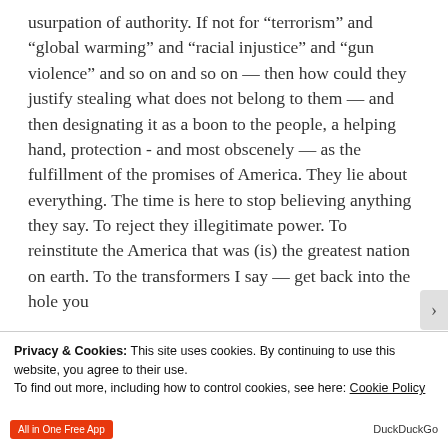usurpation of authority. If not for “terrorism” and “global warming” and “racial injustice” and “gun violence” and so on and so on — then how could they justify stealing what does not belong to them — and then designating it as a boon to the people, a helping hand, protection - and most obscenely — as the fulfillment of the promises of America. They lie about everything. The time is here to stop believing anything they say. To reject they illegitimate power. To reinstitute the America that was (is) the greatest nation on earth. To the transformers I say — get back into the hole you
Privacy & Cookies: This site uses cookies. By continuing to use this website, you agree to their use.
To find out more, including how to control cookies, see here: Cookie Policy
Close and accept